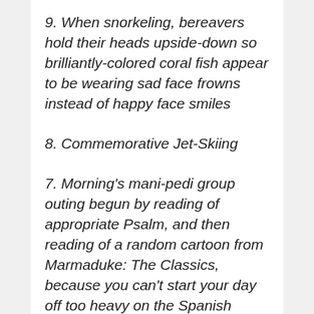9. When snorkeling, bereavers hold their heads upside-down so brilliantly-colored coral fish appear to be wearing sad face frowns instead of happy face smiles
8. Commemorative Jet-Skiing
7. Morning's mani-pedi group outing begun by reading of appropriate Psalm, and then reading of a random cartoon from Marmaduke: The Classics, because you can't start your day off too heavy on the Spanish Riviera